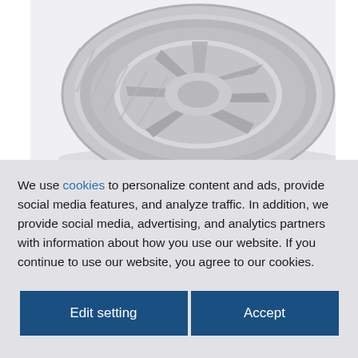[Figure (photo): A Bridgestone Potenza tire shown at an angle on a light gray background, displaying the tread pattern and alloy wheel spokes.]
We use cookies to personalize content and ads, provide social media features, and analyze traffic. In addition, we provide social media, advertising, and analytics partners with information about how you use our website. If you continue to use our website, you agree to our cookies.
Edit setting
Accept